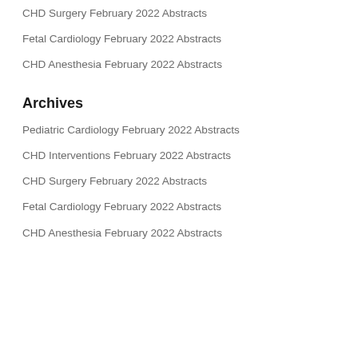CHD Surgery February 2022 Abstracts
Fetal Cardiology February 2022 Abstracts
CHD Anesthesia February 2022 Abstracts
Archives
Pediatric Cardiology February 2022 Abstracts
CHD Interventions February 2022 Abstracts
CHD Surgery February 2022 Abstracts
Fetal Cardiology February 2022 Abstracts
CHD Anesthesia February 2022 Abstracts